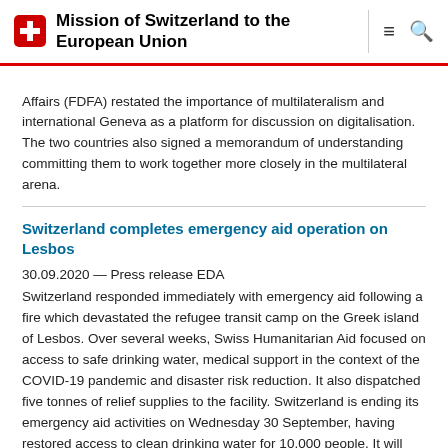Mission of Switzerland to the European Union
Affairs (FDFA) restated the importance of multilateralism and international Geneva as a platform for discussion on digitalisation. The two countries also signed a memorandum of understanding committing them to work together more closely in the multilateral arena.
Switzerland completes emergency aid operation on Lesbos
30.09.2020 — Press release EDA
Switzerland responded immediately with emergency aid following a fire which devastated the refugee transit camp on the Greek island of Lesbos. Over several weeks, Swiss Humanitarian Aid focused on access to safe drinking water, medical support in the context of the COVID-19 pandemic and disaster risk reduction. It also dispatched five tonnes of relief supplies to the facility. Switzerland is ending its emergency aid activities on Wednesday 30 September, having restored access to clean drinking water for 10,000 people. It will continue its support in the form of medium and longer-term assistance.